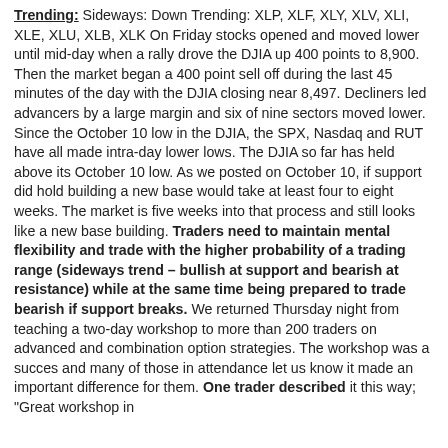Trending: Sideways: Down Trending: XLP, XLF, XLY, XLV, XLI, XLE, XLU, XLB, XLK On Friday stocks opened and moved lower until mid-day when a rally drove the DJIA up 400 points to 8,900. Then the market began a 400 point sell off during the last 45 minutes of the day with the DJIA closing near 8,497. Decliners led advancers by a large margin and six of nine sectors moved lower. Since the October 10 low in the DJIA, the SPX, Nasdaq and RUT have all made intra-day lower lows. The DJIA so far has held above its October 10 low. As we posted on October 10, if support did hold building a new base would take at least four to eight weeks. The market is five weeks into that process and still looks like a new base building. Traders need to maintain mental flexibility and trade with the higher probability of a trading range (sideways trend – bullish at support and bearish at resistance) while at the same time being prepared to trade bearish if support breaks. We returned Thursday night from teaching a two-day workshop to more than 200 traders on advanced and combination option strategies. The workshop was a succes and many of those in attendance let us know it made an important difference for them. One trader described it this way; "Great workshop in